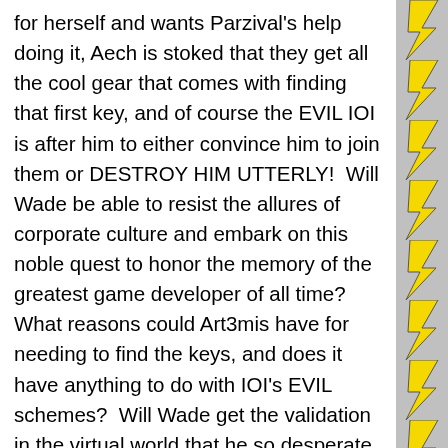for herself and wants Parzival's help doing it, Aech is stoked that they get all the cool gear that comes with finding that first key, and of course the EVIL IOI is after him to either convince him to join them or DESTROY HIM UTTERLY!  Will Wade be able to resist the allures of corporate culture and embark on this noble quest to honor the memory of the greatest game developer of all time?  What reasons could Art3mis have for needing to find the keys, and does it have anything to do with IOI's EVIL schemes?  Will Wade get the validation in the virtual world that he so desperate craves in his own
Privacy & Cookies: This site uses cookies. By continuing to use this website, you agree to their use.
To find out more, including how to control cookies, see here: Cookie Policy
Close and accept